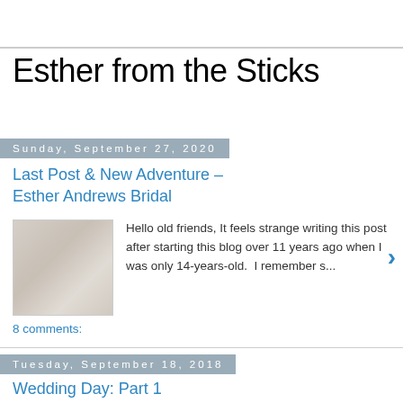Esther from the Sticks
Sunday, September 27, 2020
Last Post & New Adventure – Esther Andrews Bridal
Hello old friends, It feels strange writing this post after starting this blog over 11 years ago when I was only 14-years-old.  I remember s...
8 comments:
Tuesday, September 18, 2018
Wedding Day: Part 1
I'm so excited to finally share photos from Z and I's wedding from earlier this summer!   On one of our early dates we decor...
28 comments: